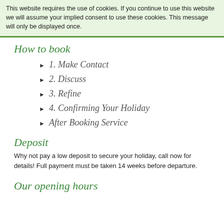This website requires the use of cookies. If you continue to use this website we will assume your implied consent to use these cookies. This message will only be displayed once.
How to book
1. Make Contact
2. Discuss
3. Refine
4. Confirming Your Holiday
After Booking Service
Deposit
Why not pay a low deposit to secure your holiday, call now for details! Full payment must be taken 14 weeks before departure.
Our opening hours